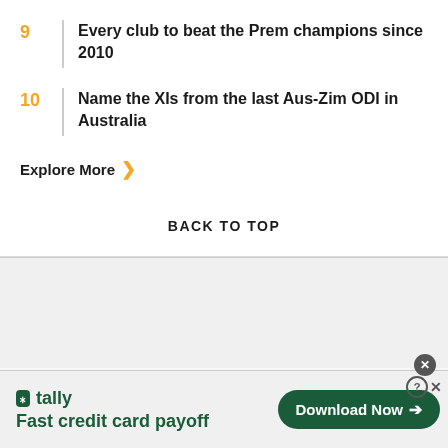9  Every club to beat the Prem champions since 2010
10  Name the XIs from the last Aus-Zim ODI in Australia
Explore More >
BACK TO TOP
[Figure (screenshot): Tally advertisement banner: 'Fast credit card payoff' with Download Now button and close/info icons]